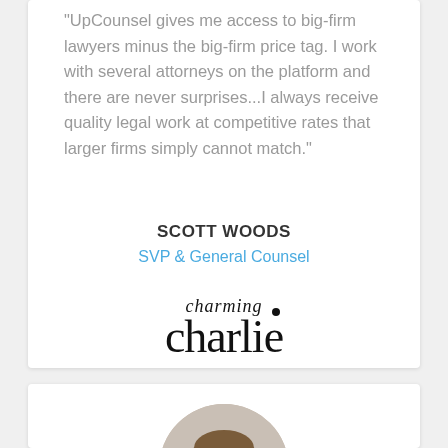UpCounsel gives me access to big-firm lawyers minus the big-firm price tag. I work with several attorneys on the platform and there are never surprises...I always receive quality legal work at competitive rates that larger firms simply cannot match."
SCOTT WOODS
SVP & General Counsel
[Figure (logo): Charming Charlie brand logo in black serif/script typography]
[Figure (photo): Circular headshot photo of a smiling young man in professional attire]